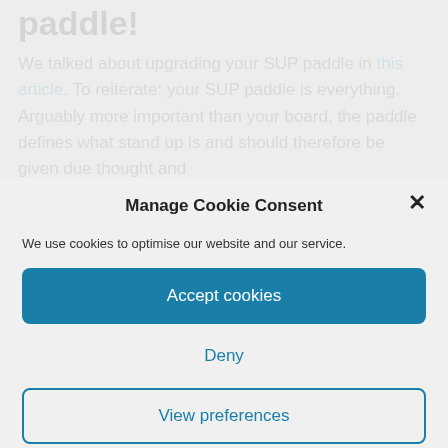paddle!
We talked about upgrading your SUP paddle in this article. To reiterate: your SUP paddle is everything. Arguably more important than your board, the paddle defines what stand up is and should therefore be given due thought and
Manage Cookie Consent
We use cookies to optimise our website and our service.
Accept cookies
Deny
View preferences